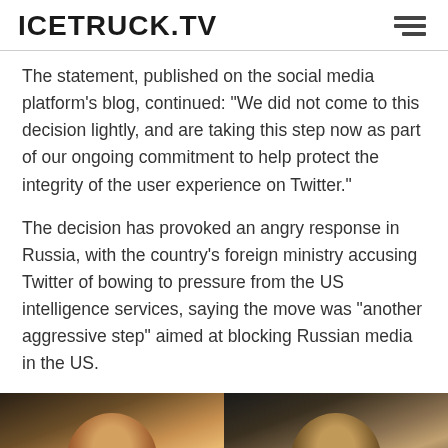ICETRUCK.TV
The statement, published on the social media platform's blog, continued: "We did not come to this decision lightly, and are taking this step now as part of our ongoing commitment to help protect the integrity of the user experience on Twitter."
The decision has provoked an angry response in Russia, with the country's foreign ministry accusing Twitter of bowing to pressure from the US intelligence services, saying the move was "another aggressive step" aimed at blocking Russian media in the US.
[Figure (photo): Two side-by-side dark-background photos showing partial faces of two individuals, cropped at the bottom of the page.]